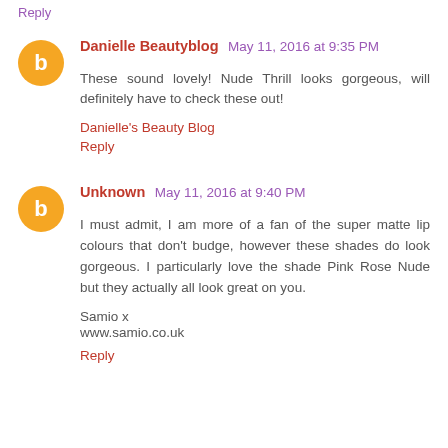Danielle Beautyblog May 11, 2016 at 9:35 PM — These sound lovely! Nude Thrill looks gorgeous, will definitely have to check these out! Danielle's Beauty Blog Reply
Unknown May 11, 2016 at 9:40 PM — I must admit, I am more of a fan of the super matte lip colours that don't budge, however these shades do look gorgeous. I particularly love the shade Pink Rose Nude but they actually all look great on you. Samio x www.samio.co.uk Reply